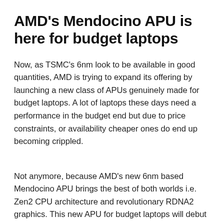AMD's Mendocino APU is here for budget laptops
Now, as TSMC's 6nm look to be available in good quantities, AMD is trying to expand its offering by launching a new class of APUs genuinely made for budget laptops. A lot of laptops these days need a performance in the budget end but due to price constraints, or availability cheaper ones do end up becoming crippled.
Not anymore, because AMD's new 6nm based Mendocino APU brings the best of both worlds i.e. Zen2 CPU architecture and revolutionary RDNA2 graphics. This new APU for budget laptops will debut in Q4 this year before they launch Ryzen